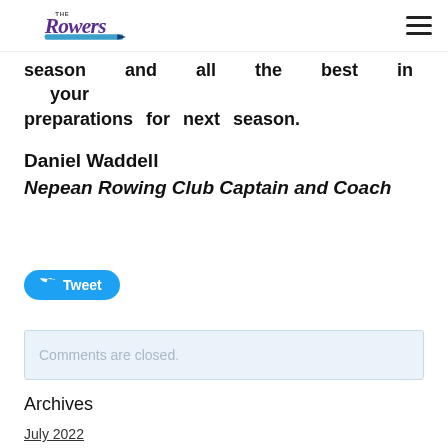The Rowers [logo] [hamburger menu]
season and all the best in your preparations for next season.
Daniel Waddell
Nepean Rowing Club Captain and Coach
[Figure (other): Tweet button with Twitter bird icon]
Comments are closed.
Archives
July 2022
May 2022